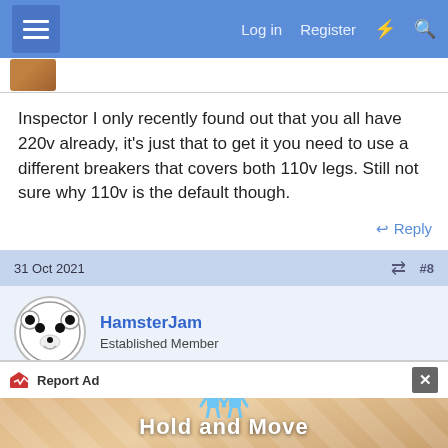Log in  Register
Inspector I only recently found out that you all have 220v already, it's just that to get it you need to use a different breakers that covers both 110v legs. Still not sure why 110v is the default though.
↩ Reply
31 Oct 2021  #8
HamsterJam
Established Member
Inspector said: ⊕
[Figure (screenshot): Ad banner showing 'Hold and Move' app advertisement with cartoon figures]
Report Ad